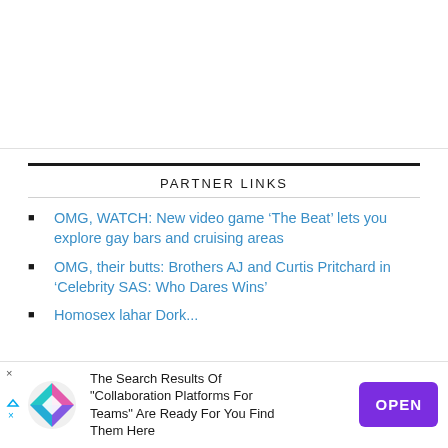PARTNER LINKS
OMG, WATCH: New video game ‘The Beat’ lets you explore gay bars and cruising areas
OMG, their butts: Brothers AJ and Curtis Pritchard in ‘Celebrity SAS: Who Dares Wins’
[Figure (other): Advertisement banner: The Search Results Of "Collaboration Platforms For Teams" Are Ready For You Find Them Here, with OPEN button]